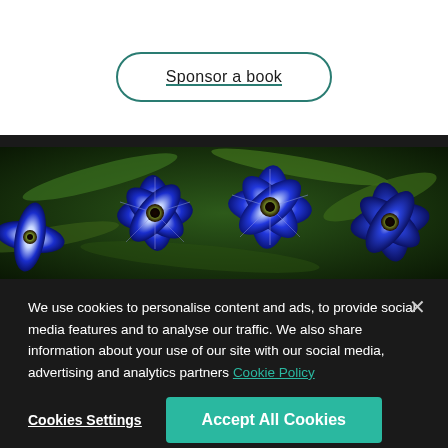Sponsor a book
[Figure (photo): Close-up photograph of bright blue flowers with white centers and fine white veining on petals, set against green foliage background.]
We use cookies to personalise content and ads, to provide social media features and to analyse our traffic. We also share information about your use of our site with our social media, advertising and analytics partners Cookie Policy
Cookies Settings
Accept All Cookies